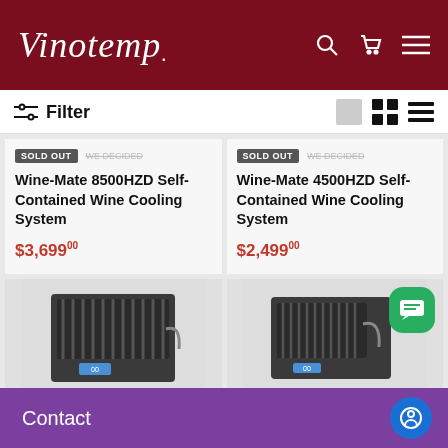Vinotemp
Filter
SOLD OUT
Wine-Mate 8500HZD Self-Contained Wine Cooling System
$3,699.00
SOLD OUT
Wine-Mate 4500HZD Self-Contained Wine Cooling System
$2,499.00
[Figure (photo): Wine cooling unit hardware, dark metal finish, front-facing]
[Figure (photo): Wine cooling unit hardware, dark metal finish, front-facing, with green chat bubble icon overlay]
Contact